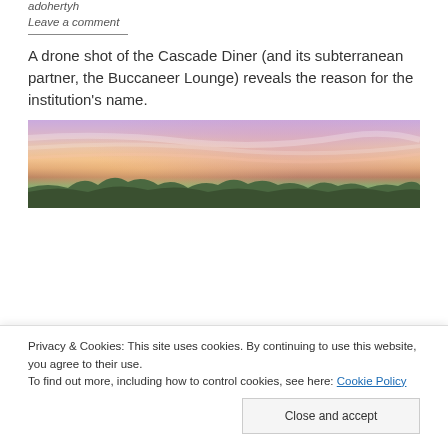adohertyh
Leave a comment
A drone shot of the Cascade Diner (and its subterranean partner, the Buccaneer Lounge) reveals the reason for the institution’s name.
[Figure (photo): Aerial/drone photo of a sunset sky with pink, purple and orange hues over trees and landscape, likely the Cascade Diner area.]
Privacy & Cookies: This site uses cookies. By continuing to use this website, you agree to their use.
To find out more, including how to control cookies, see here: Cookie Policy
Close and accept